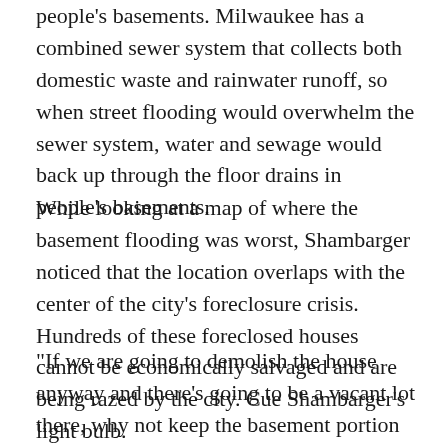people's basements. Milwaukee has a combined sewer system that collects both domestic waste and rainwater runoff, so when street flooding would overwhelm the sewer system, water and sewage would back up through the floor drains in people's basements.
While looking at a map of where the basement flooding was worst, Shambarger noticed that the location overlaps with the center of the city's foreclosure crisis. Hundreds of these foreclosed houses cannot be economically salvaged and are being razed by the city. Cue Shambarger's light bulb.
"If we are going to demolish the house anyway and there's going to be a vacant lot there, why not keep the basement portion of it?" he says. "Let's get water into those basements, and in the process keep other basements dry. We are making